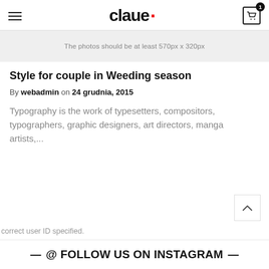claue
[Figure (other): Gray placeholder box with text: The photos should be at least 570px x 320px]
Style for couple in Weeding season
By webadmin on 24 grudnia, 2015
Typography is the work of typesetters, compositors, typographers, graphic designers, art directors, manga artists,...
correct user ID specified.
@ FOLLOW US ON INSTAGRAM